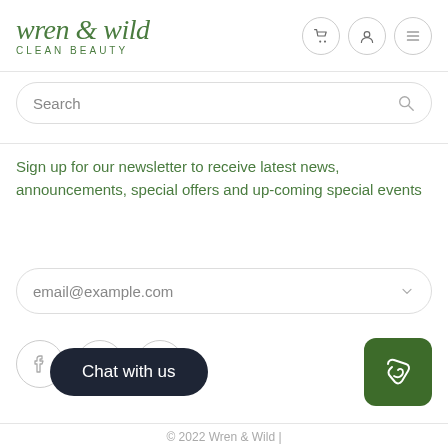wren & wild CLEAN BEAUTY
Search
Sign up for our newsletter to receive latest news, announcements, special offers and up-coming special events
email@example.com
[Figure (illustration): Social media icons: Facebook, Pinterest, Instagram in circular outlines]
Chat with us
© 2022 Wren & Wild |